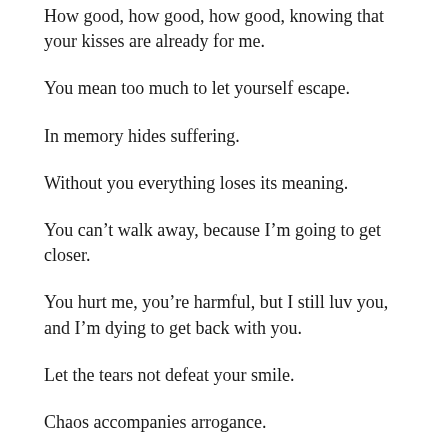How good, how good, how good, knowing that your kisses are already for me.
You mean too much to let yourself escape.
In memory hides suffering.
Without you everything loses its meaning.
You can't walk away, because I'm going to get closer.
You hurt me, you're harmful, but I still luv you, and I'm dying to get back with you.
Let the tears not defeat your smile.
Chaos accompanies arrogance.